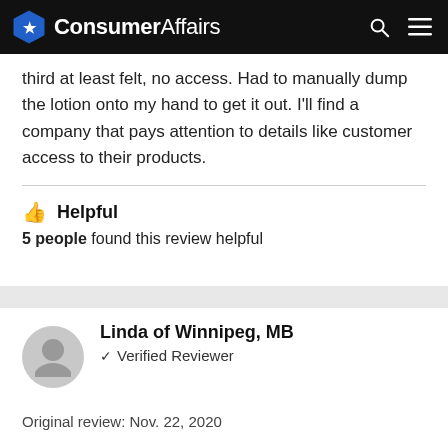ConsumerAffairs
third at least felt, no access. Had to manually dump the lotion onto my hand to get it out. I'll find a company that pays attention to details like customer access to their products.
👍 Helpful
5 people found this review helpful
Linda of Winnipeg, MB
✓ Verified Reviewer
Original review: Nov. 22, 2020